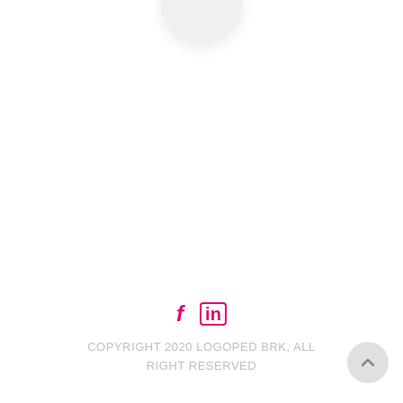[Figure (illustration): Partial circle/avatar element at top center, light gray, partially visible at top edge of page.]
[Figure (illustration): Social media icons: Facebook 'f' and LinkedIn 'in', both in pink/magenta color, centered.]
COPYRIGHT 2020 LOGOPED BRK, ALL RIGHT RESERVED
[Figure (illustration): Scroll-to-top button: gray circle with upward chevron arrow, positioned bottom-right.]